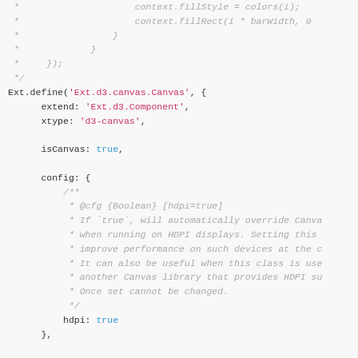Code snippet showing Ext.define for Ext.d3.canvas.Canvas with config block including hdpi property and JSDoc comments